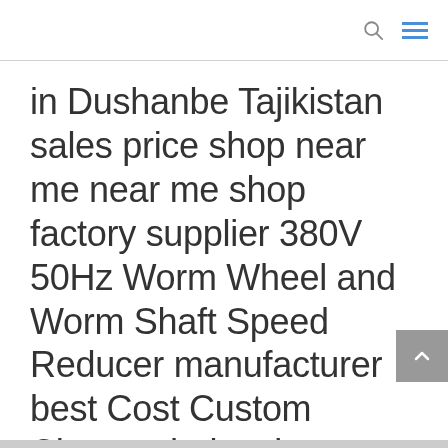in Dushanbe Tajikistan sales price shop near me near me shop factory supplier 380V 50Hz Worm Wheel and Worm Shaft Speed Reducer manufacturer best Cost Custom Cheap wholesaler